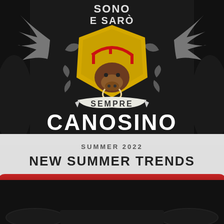[Figure (photo): Black sweatshirt with Italian heraldic graphic reading SONO E SARO SEMPRE CANOSINO with wings and boar crest design]
SUMMER 2022
NEW SUMMER TRENDS
CLICK ME! CHECK YOUR PHONE CASE DESIGN AND PRICE